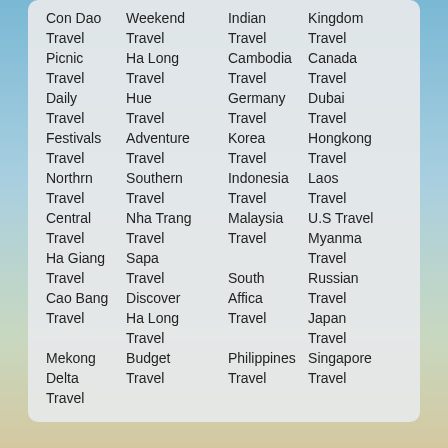| Col1 | Col2 | Col3 | Col4 |
| --- | --- | --- | --- |
| Con Dao | Weekend | Indian | Kingdom |
| Travel | Travel | Travel | Travel |
| Picnic | Ha Long | Cambodia | Canada |
| Travel | Travel | Travel | Travel |
| Daily | Hue | Germany | Dubai |
| Travel | Travel | Travel | Travel |
| Festivals | Adventure | Korea | Hongkong |
| Travel | Travel | Travel | Travel |
| Northrn | Southern | Indonesia | Laos |
| Travel | Travel | Travel | Travel |
| Central | Nha Trang | Malaysia | U.S Travel |
| Travel | Travel | Travel | Myanma |
| Ha Giang | Sapa |  | Travel |
| Travel | Travel | South | Russian |
| Cao Bang | Discover | Affica | Travel |
| Travel | Ha Long | Travel | Japan |
|  | Travel |  | Travel |
| Mekong | Budget | Philippines | Singapore |
| Delta | Travel | Travel | Travel |
| Travel |  |  |  |